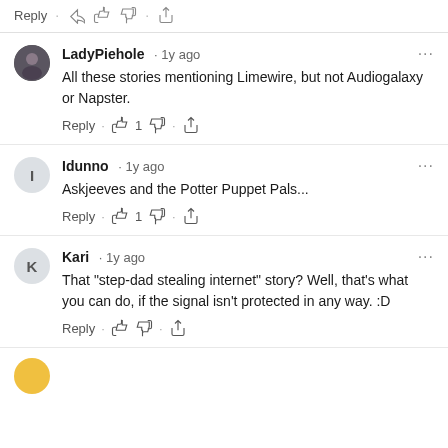Reply · 👍 👎 · share
LadyPiehole · 1y ago
All these stories mentioning Limewire, but not Audiogalaxy or Napster.
Reply · 👍 1 👎 · share
Idunno · 1y ago
Askjeeves and the Potter Puppet Pals...
Reply · 👍 1 👎 · share
Kari · 1y ago
That "step-dad stealing internet" story? Well, that's what you can do, if the signal isn't protected in any way. :D
Reply · 👍 👎 · share